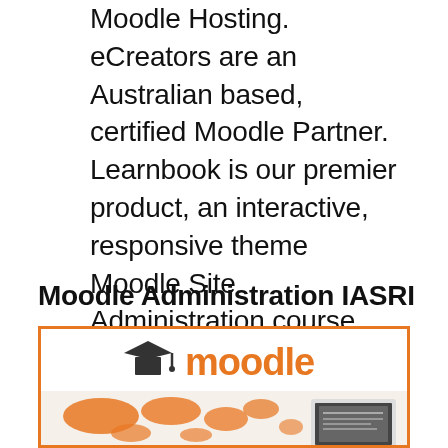Moodle Hosting. eCreators are an Australian based, certified Moodle Partner. Learnbook is our premier product, an interactive, responsive theme Moodle Site Administration course provides the knowledge & skills to perform day-to-day administrative duties & manage essential configuration of your site.
Moodle Administration IASRI
[Figure (logo): Moodle logo (orange text with graduation cap icon) above a world map graphic with a laptop, shown inside an orange-bordered box]